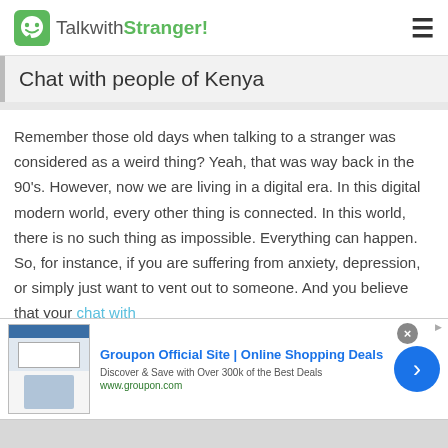TalkwithStranger!
Chat with people of Kenya
Remember those old days when talking to a stranger was considered as a weird thing? Yeah, that was way back in the 90's. However, now we are living in a digital era. In this digital modern world, every other thing is connected. In this world, there is no such thing as impossible. Everything can happen. So, for instance, if you are suffering from anxiety, depression, or simply just want to vent out to someone. And you believe that your chat with
[Figure (screenshot): Groupon advertisement banner showing 'Groupon Official Site | Online Shopping Deals' with 'Discover & Save with Over 300k of the Best Deals' and www.groupon.com]